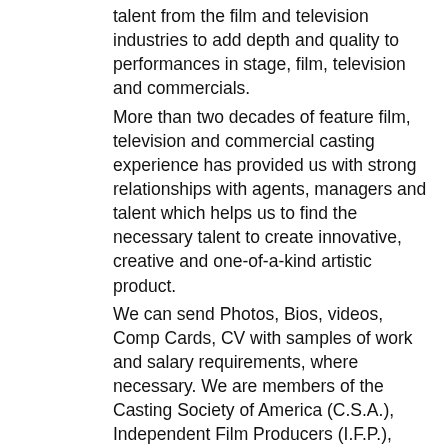talent from the film and television industries to add depth and quality to performances in stage, film, television and commercials.
More than two decades of feature film, television and commercial casting experience has provided us with strong relationships with agents, managers and talent which helps us to find the necessary talent to create innovative, creative and one-of-a-kind artistic product.
We can send Photos, Bios, videos, Comp Cards, CV with samples of work and salary requirements, where necessary. We are members of the Casting Society of America (C.S.A.), Independent Film Producers (I.F.P.), Screen Actors Guild (S.A.G.), and Broadcast Music Inc. (BMI) to list a few.
There are some good entertainment industry job listings on the "Casting Page" with Executive jobs in Sports and Entertainment with casting calls, auditions, and internships on the front page at https://eX-whY.com!
SUPERSTARS ENTERTAINMENT and SPORTS NETWORK
SUPERSTARS ENTERTAINMENT and SPORTS NETWORK has over 270,000 subscriber/members with a reach of